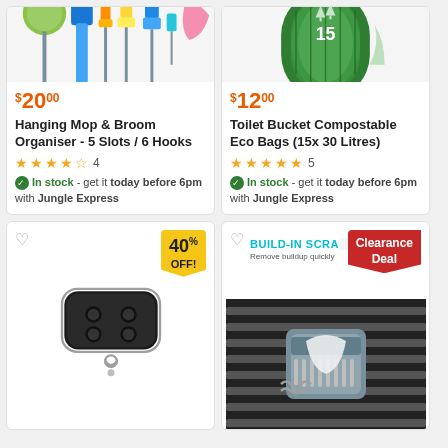[Figure (photo): Hanging Mop & Broom Organiser product image showing various cleaning tools]
$20.00
Hanging Mop & Broom Organiser - 5 Slots / 6 Hooks
4 stars rating, 4 reviews
In stock - get it today before 6pm with Jungle Express
[Figure (photo): Toilet Bucket Compostable Eco Bags roll product image]
$12.00
Toilet Bucket Compostable Eco Bags (15x 30 Litres)
5 stars rating, 5 reviews
In stock - get it today before 6pm with Jungle Express
[Figure (photo): Remote control key fob product image, with 40% OFF badge]
[Figure (photo): Grill brush with built-in scraper product image, Clearance Deal badge]